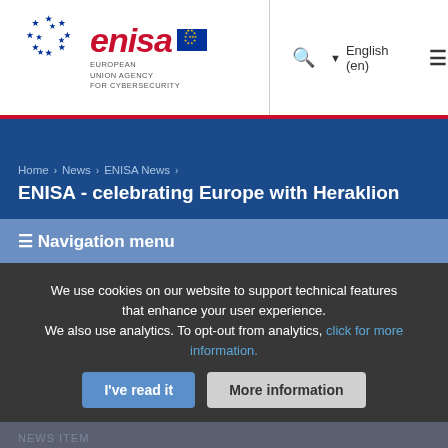[Figure (logo): ENISA logo with EU stars circle, red italic 'enisa' wordmark, EU flag icon, and text 'EUROPEAN UNION AGENCY FOR CYBERSECURITY']
Search | English (en) | Menu
Home › News › ENISA News ›
ENISA - celebrating Europe with Heraklion
≡ Navigation menu
We use cookies on our website to support technical features that enhance your user experience.
We also use analytics. To opt-out from analytics, click for more information.
NEWS ITEM
ENISA – celebrating Europe with Heraklion
Europe's cyber security agency, ENISA, is an invitation to all, to join the ieleb... on Europe Day.